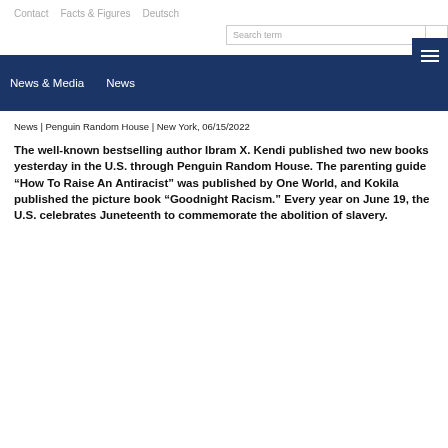Contact   Facts & Figures   Deutsch
Search term
News & Media   News
News | Penguin Random House | New York, 06/15/2022
The well-known bestselling author Ibram X. Kendi published two new books yesterday in the U.S. through Penguin Random House. The parenting guide “How To Raise An Antiracist” was published by One World, and Kokila published the picture book “Goodnight Racism.” Every year on June 19, the U.S. celebrates Juneteenth to commemorate the abolition of slavery.